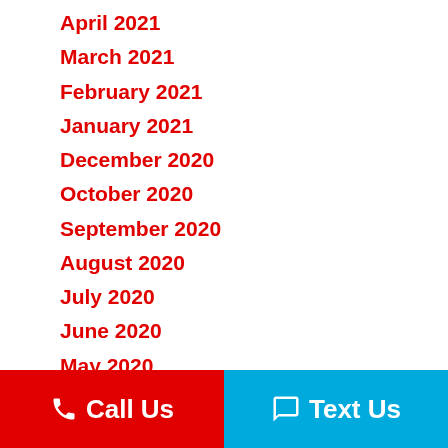April 2021
March 2021
February 2021
January 2021
December 2020
October 2020
September 2020
August 2020
July 2020
June 2020
May 2020
April 2020
Call Us   Text Us